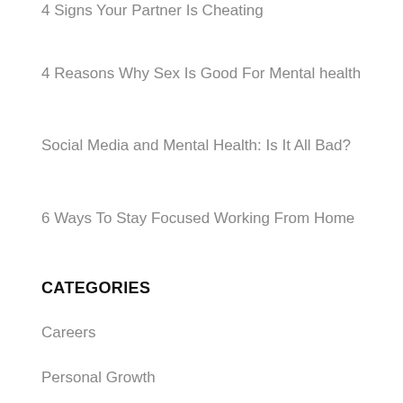4 Signs Your Partner Is Cheating
4 Reasons Why Sex Is Good For Mental health
Social Media and Mental Health: Is It All Bad?
6 Ways To Stay Focused Working From Home
CATEGORIES
Careers
Personal Growth
Relationships
Stress & Anxiety
Therapy & Coaching
Therapy For Men